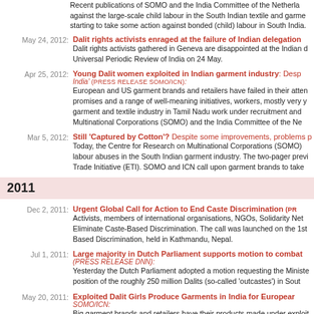Recent publications of SOMO and the India Committee of the Netherlands are directed against the large-scale child labour in the South Indian textile and garment industry, and starting to take some action against bonded (child) labour in South India.
May 24, 2012: Dalit rights activists enraged at the failure of Indian delegation - Dalit rights activists gathered in Geneva are disappointed at the Indian delegation during the Universal Periodic Review of India on 24 May.
Apr 25, 2012: Young Dalit women exploited in Indian garment industry: Despite the promises... European and US garment brands and retailers have failed in their attempts...
Mar 5, 2012: Still 'Captured by Cotton'? Despite some improvements, problems persist. Today, the Centre for Research on Multinational Corporations (SOMO)...
2011
Dec 2, 2011: Urgent Global Call for Action to End Caste Discrimination (PRESS RELEASE) - Activists, members of international organisations, NGOs, Solidarity Network to Eliminate Caste-Based Discrimination.
Jul 1, 2011: Large majority in Dutch Parliament supports motion to combat... (PRESS RELEASE DNN): Yesterday the Dutch Parliament adopted a motion requesting the Minister... position of the roughly 250 million Dalits (so-called 'outcastes') in South...
May 20, 2011: Exploited Dalit Girls Produce Garments in India for European... SOMO/ICN: Big garment brands and retailers have their products made under exploitative conditions. Dalit ('outcaste') background are employed under the Sumangali Scheme... report published today by the Centre for Research on Multinational Corporations...